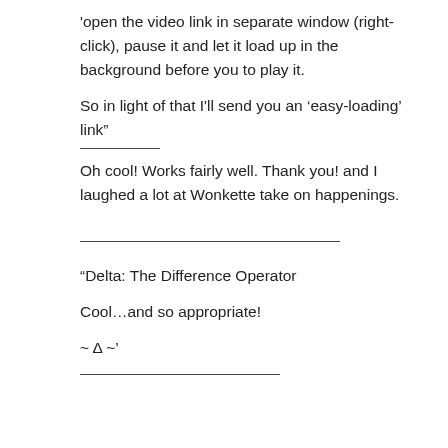'open the video link in separate window (right-click), pause it and let it load up in the background before you to play it.
So in light of that I'll send you an ‘easy-loading’ link”
Oh cool! Works fairly well. Thank you! and I laughed a lot at Wonkette take on happenings.
“Delta: The Difference Operator
Cool…and so appropriate!
~ Δ ~’